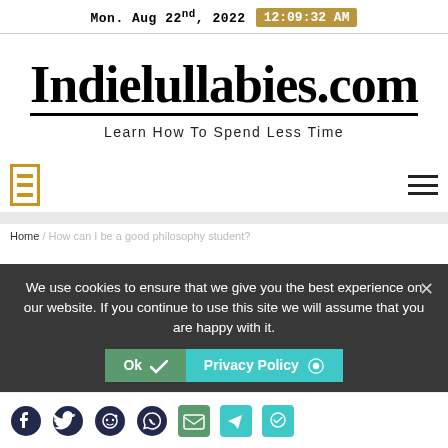Mon. Aug 22nd, 2022  12:09:32 AM
Indielullabies.com
Learn How To Spend Less Time
Home / How can I be a good philosophy student?
We use cookies to ensure that we give you the best experience on our website. If you continue to use this site we will assume that you are happy with it.
Ok  Privacy Policy